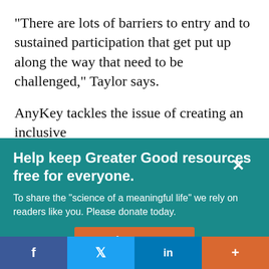“There are lots of barriers to entry and to sustained participation that get put up along the way that need to be challenged,” Taylor says.
AnyKey tackles the issue of creating an inclusive
Help keep Greater Good resources free for everyone.
To share the “science of a meaningful life” we rely on readers like you. Please donate today.
Give Now
f  •  🐦  in  •  +